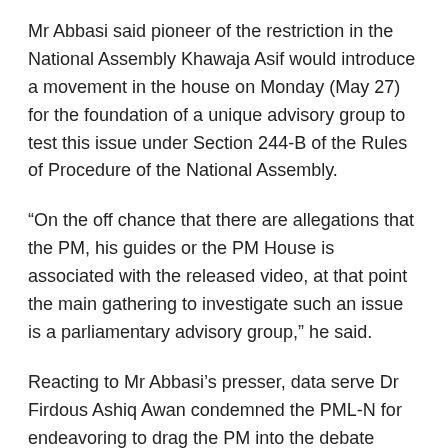Mr Abbasi said pioneer of the restriction in the National Assembly Khawaja Asif would introduce a movement in the house on Monday (May 27) for the foundation of a unique advisory group to test this issue under Section 244-B of the Rules of Procedure of the National Assembly.
“On the off chance that there are allegations that the PM, his guides or the PM House is associated with the released video, at that point the main gathering to investigate such an issue is a parliamentary advisory group,” he said.
Reacting to Mr Abbasi’s presser, data serve Dr Firdous Ashiq Awan condemned the PML-N for endeavoring to drag the PM into the debate pointlessly.
Tending to a question and answer session in Lahore, she said the proprietor of NewsOne TV, Tahir A. Khan, was not a